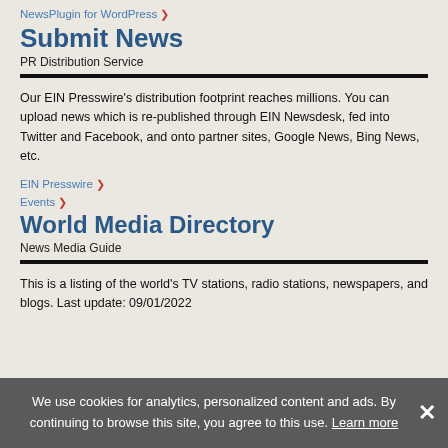NewsPlugin for WordPress >
Submit News
PR Distribution Service
Our EIN Presswire's distribution footprint reaches millions. You can upload news which is re-published through EIN Newsdesk, fed into Twitter and Facebook, and onto partner sites, Google News, Bing News, etc.
EIN Presswire >
Events >
World Media Directory
News Media Guide
This is a listing of the world's TV stations, radio stations, newspapers, and blogs. Last update: 09/01/2022
We use cookies for analytics, personalized content and ads. By continuing to browse this site, you agree to this use. Learn more